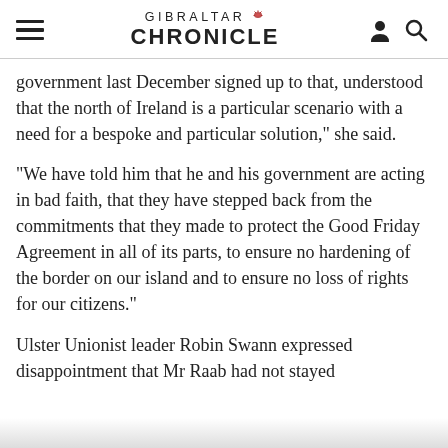GIBRALTAR CHRONICLE
government last December signed up to that, understood that the north of Ireland is a particular scenario with a need for a bespoke and particular solution," she said.
"We have told him that he and his government are acting in bad faith, that they have stepped back from the commitments that they made to protect the Good Friday Agreement in all of its parts, to ensure no hardening of the border on our island and to ensure no loss of rights for our citizens."
Ulster Unionist leader Robin Swann expressed disappointment that Mr Raab had not stayed longer, pointing out such visits were particularly...